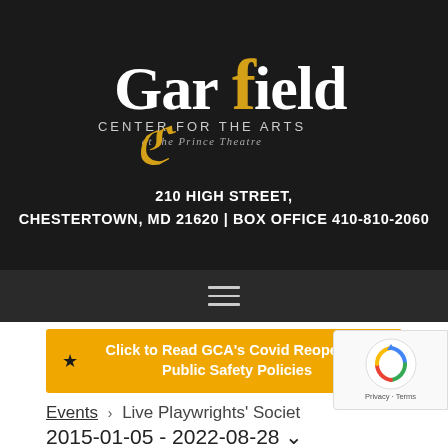[Figure (logo): Garfield Center for the Arts at the Prince Theatre logo with decorative script lettering in white and gold on black background]
210 HIGH STREET, CHESTERTOWN, MD 21620 | BOX OFFICE 410-810-2060
Click to Read GCA's Covid Reopening Public Safety Policies
Events › Live Playwrights' Society
2015-01-05 - 2022-08-28